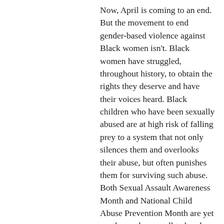Now, April is coming to an end. But the movement to end gender-based violence against Black women isn't. Black women have struggled, throughout history, to obtain the rights they deserve and have their voices heard. Black children who have been sexually abused are at high risk of falling prey to a system that not only silences them and overlooks their abuse, but often punishes them for surviving such abuse. Both Sexual Assault Awareness Month and National Child Abuse Prevention Month are yet another wake-up call to break the silence, raise awareness and take action against these violent realities that impact Black communities.